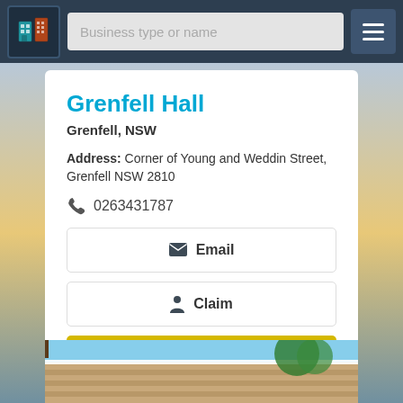[Figure (screenshot): Navigation bar with logo icon, search input placeholder 'Business type or name', and hamburger menu icon on dark blue background]
Grenfell Hall
Grenfell, NSW
Address: Corner of Young and Weddin Street, Grenfell NSW 2810
0263431787
Email
Claim
Book Now
View Details
[Figure (photo): Bottom strip showing a building exterior with wooden slats against blue sky and trees]